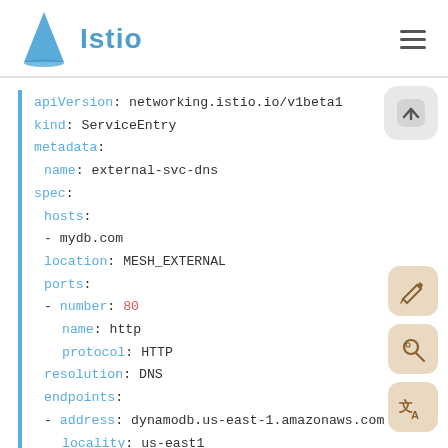[Figure (logo): Istio logo: blue sailboat triangle icon with the text 'Istio' in blue bold font]
apiVersion: networking.istio.io/v1beta1
kind: ServiceEntry
metadata:
  name: external-svc-dns
spec:
  hosts:
  - mydb.com
  location: MESH_EXTERNAL
  ports:
  - number: 80
    name: http
    protocol: HTTP
  resolution: DNS
  endpoints:
  - address: dynamodb.us-east-1.amazonaws.com
    locality: us-east1
    ports:
      http: 80
  - address: dynamodb.us-west-1.amazonaws.com
    locality: us-west
    ports: